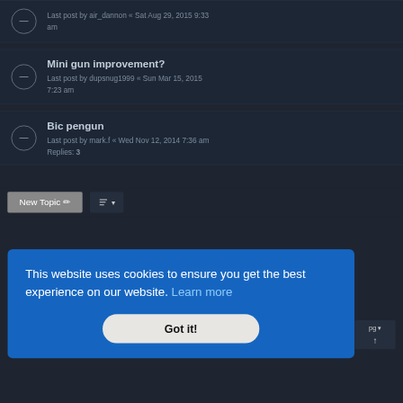Last post by air_dannon « Sat Aug 29, 2015 9:33 am
Mini gun improvement?
Last post by dupsnug1999 « Sun Mar 15, 2015 7:23 am
Bic pengun
Last post by mark.f « Wed Nov 12, 2014 7:36 am
Replies: 3
[Figure (screenshot): New Topic button with pencil icon and a sort/filter dropdown button]
This website uses cookies to ensure you get the best experience on our website. Learn more
Got it!